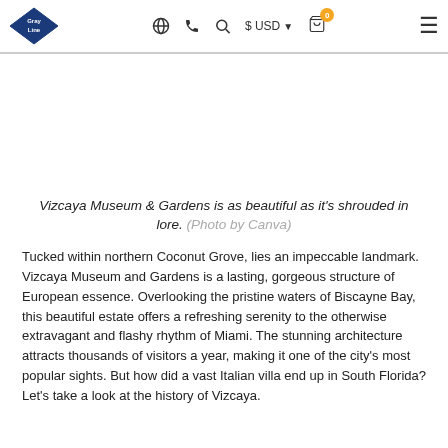Gray Line | Globe | Phone | Search | $ USD | Cart (0) | Menu
[Figure (photo): Vizcaya Museum & Gardens photo (blank/white area — image not fully visible)]
Vizcaya Museum & Gardens is as beautiful as it's shrouded in lore. (Photo by Canva)
Tucked within northern Coconut Grove, lies an impeccable landmark. Vizcaya Museum and Gardens is a lasting, gorgeous structure of European essence. Overlooking the pristine waters of Biscayne Bay, this beautiful estate offers a refreshing serenity to the otherwise extravagant and flashy rhythm of Miami. The stunning architecture attracts thousands of visitors a year, making it one of the city's most popular sights. But how did a vast Italian villa end up in South Florida? Let's take a look at the history of Vizcaya.